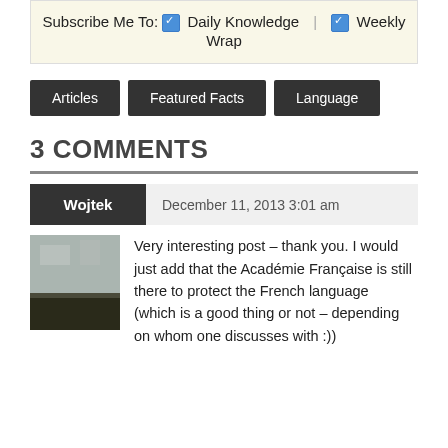Subscribe Me To: ☑ Daily Knowledge | ☑ Weekly Wrap
[Figure (screenshot): Navigation tabs: Articles, Featured Facts, Language]
3 COMMENTS
Wojtek   December 11, 2013 3:01 am
Very interesting post – thank you. I would just add that the Académie Française is still there to protect the French language (which is a good thing or not – depending on whom one discusses with :))